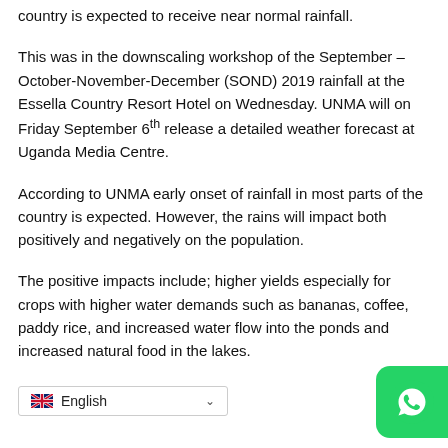country is expected to receive near normal rainfall.
This was in the downscaling workshop of the September – October-November-December (SOND) 2019 rainfall at the Essella Country Resort Hotel on Wednesday. UNMA will on Friday September 6th release a detailed weather forecast at Uganda Media Centre.
According to UNMA early onset of rainfall in most parts of the country is expected. However, the rains will impact both positively and negatively on the population.
The positive impacts include; higher yields especially for crops with higher water demands such as bananas, coffee, paddy rice, and increased water flow into the ponds and increased natural food in the lakes.